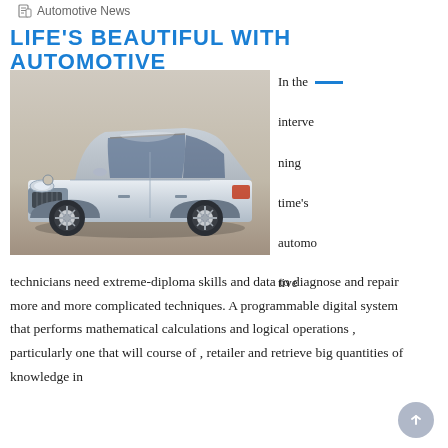Automotive News
LIFE'S BEAUTIFUL WITH AUTOMOTIVE
[Figure (photo): Silver Nissan Altima sedan photographed from a front three-quarter angle in a studio setting with a neutral grey/brown background.]
In the intervening time's automotive technicians need extreme-diploma skills and data to diagnose and repair more and more complicated techniques. A programmable digital system that performs mathematical calculations and logical operations , particularly one that will course of , retailer and retrieve big quantities of knowledge in